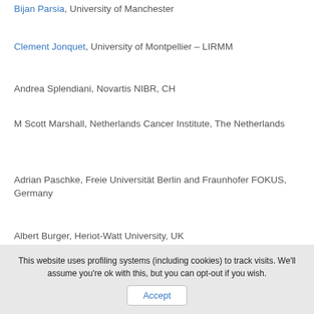Bijan Parsia, University of Manchester
Clement Jonquet, University of Montpellier – LIRMM
Andrea Splendiani, Novartis NIBR, CH
M Scott Marshall, Netherlands Cancer Institute, The Netherlands
Adrian Paschke, Freie Universität Berlin and Fraunhofer FOKUS, Germany
Albert Burger, Heriot-Watt University, UK
Paolo Romano, IRCCS AOU San Martino IST, Italy
This website uses profiling systems (including cookies) to track visits. We'll assume you're ok with this, but you can opt-out if you wish.